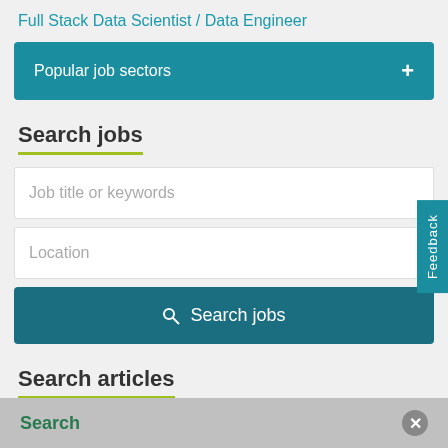Full Stack Data Scientist / Data Engineer
Popular job sectors
Search jobs
Job title or keywords
Location
Search jobs
Search articles
Keywords or phrase
Search